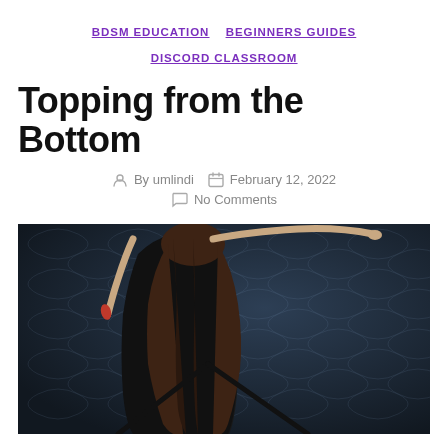BDSM EDUCATION   BEGINNERS GUIDES   DISCORD CLASSROOM
Topping from the Bottom
By umlindi   February 12, 2022   No Comments
[Figure (photo): Woman with long dark hair facing a dark blue damask-patterned wall, arms raised, wearing a black outfit, with red nail polish visible on one hand.]